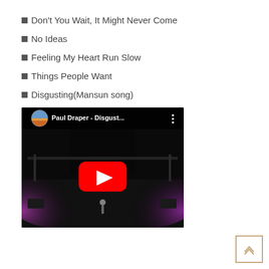Don't You Wait, It Might Never Come
No Ideas
Feeling My Heart Run Slow
Things People Want
Disgusting(Mansun song)
[Figure (screenshot): YouTube video embed thumbnail showing a concert stage with purple lighting and a YouTube play button overlay. Title reads 'Paul Draper - Disgust...']